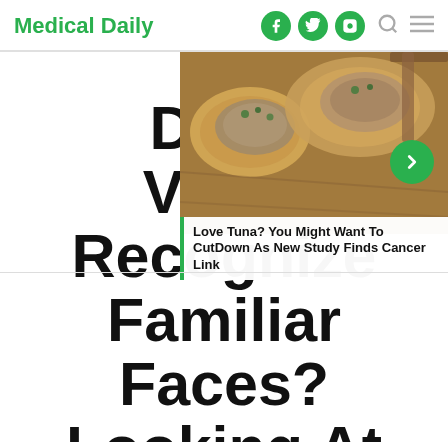Medical Daily
[Figure (photo): Photo of tuna spread on bread slices with herbs, partially overlapping the main article headline]
Love Tuna? You Might Want To CutDown As New Study Finds Cancer Link
Do Vegetables Recognize Familiar Faces? Looking At Photos Of Friends Could Induce Reactions In Their